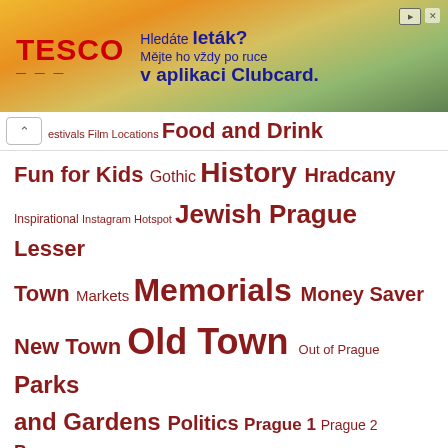[Figure (photo): Tesco advertisement banner: 'Hledáte leták? Mějte ho vždy po ruce v aplikaci Clubcard.' with Tesco logo on orange/green background]
estivals Film Locations Food and Drink
Fun for Kids Gothic History Hradcany
Inspirational Instagram Hotspot Jewish Prague Lesser
Town Markets Memorials Money Saver
New Town Old Town Out of Prague Parks
and Gardens Politics Prague 1 Prague 2 Prague
Towers River Scenic Views Services Sports
Things to Do Tips and Tricks
Transport Walking Tours Wenceslas Square World